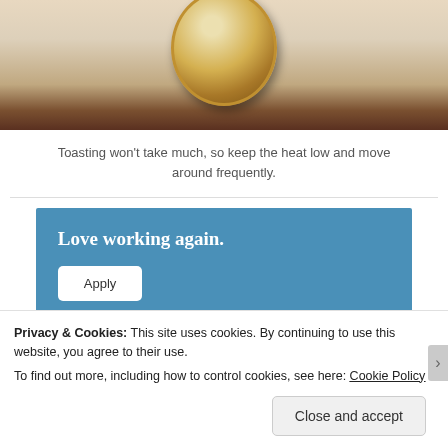[Figure (photo): Close-up photo of a golden/metallic plate or pan on a light beige/cream surface, partially cropped at the top]
Toasting won't take much, so keep the heat low and move around frequently.
[Figure (infographic): Blue banner advertisement with white bold text 'Love working again.' and a white 'Apply' button]
Privacy & Cookies: This site uses cookies. By continuing to use this website, you agree to their use.
To find out more, including how to control cookies, see here: Cookie Policy
Close and accept